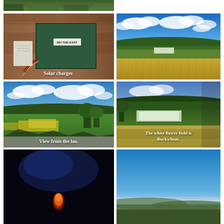[Figure (photo): Partial view of green vegetation/nature scene, cropped at top]
[Figure (photo): Indoor shed/cabin scene with a green solar charger box labeled 'SKI THE EAST', wires visible, wooden wall background. Caption: 'Solar charger.']
[Figure (photo): Outdoor rural landscape with golden grain fields, green hills in background, blue sky with white clouds]
[Figure (photo): Outdoor rural landscape with green meadow, yellow wildflowers, trees, blue sky with clouds. Caption: 'View from the loo.']
[Figure (photo): Rural landscape with forested hills, white flower field (Buckwheat), green grass. Caption: 'The white flower field is Buckwheat.']
[Figure (photo): Dark nighttime photo with a small glowing orange figure in the center, dark background with blue light]
[Figure (photo): Outdoor landscape at dusk/dawn with blue sky, hazy horizon, rolling hills in distance]